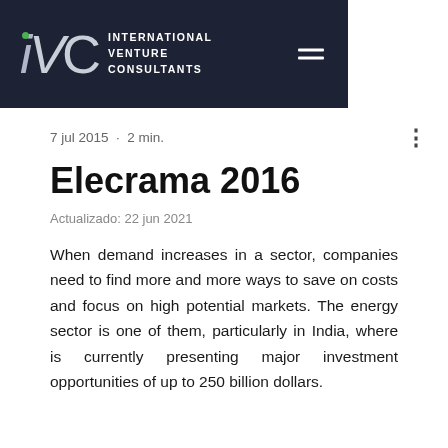iVC INTERNATIONAL VENTURE CONSULTANTS
7 jul 2015  •  2 min.
Elecrama 2016
Actualizado: 22 jun 2021
When demand increases in a sector, companies need to find more and more ways to save on costs and focus on high potential markets. The energy sector is one of them, particularly in India, where is currently presenting major investment opportunities of up to 250 billion dollars.